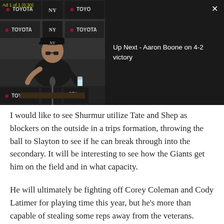[Figure (screenshot): A video player overlay showing a press conference scene. A man in a dark Yankees cap sits at a press conference table with Toyota sponsor logos visible on backdrops. The right panel shows dark background with text 'Up Next - Aaron Boone on 4-2 victory' and a close button. An ad label 'Ad 1 of 1 (0:30)' appears in the top left corner.]
I would like to see Shurmur utilize Tate and Shep as blockers on the outside in a trips formation, throwing the ball to Slayton to see if he can break through into the secondary. It will be interesting to see how the Giants get him on the field and in what capacity.
He will ultimately be fighting off Corey Coleman and Cody Latimer for playing time this year, but he's more than capable of stealing some reps away from the veterans.